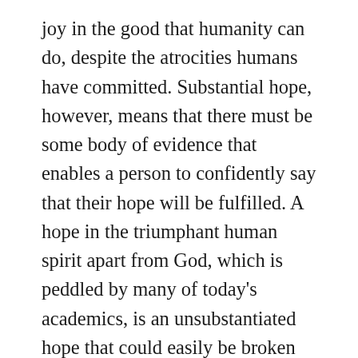joy in the good that humanity can do, despite the atrocities humans have committed. Substantial hope, however, means that there must be some body of evidence that enables a person to confidently say that their hope will be fulfilled. A hope in the triumphant human spirit apart from God, which is peddled by many of today’s academics, is an unsubstantiated hope that could easily be broken down simply by looking at the evils perpetrated by mankind across the world. Slavery, racism, rape, murder, avarice, and evils unparalleled are rampant outside the ivory towers of academia, and it is a demonic lie for a person to think or teach that kind sentiments about the human spirit can defeat the savagery